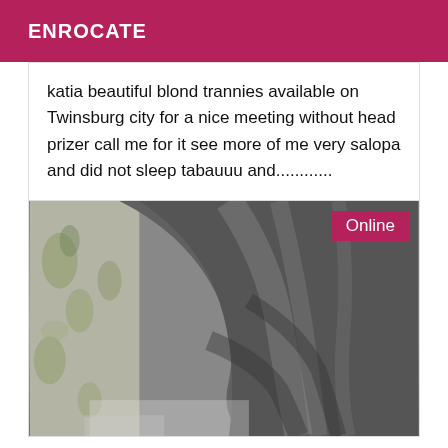ENROCATE
katia beautiful blond trannies available on Twinsburg city for a nice meeting without head prizer call me for it see more of me very salopa and did not sleep tabauuu and............
[Figure (photo): A close-up photo of grey fabric or clothing with soft wrinkles and folds, with a floral patterned curtain or wallpaper visible in the background on the left side. An 'Online' badge appears in the top-right corner.]